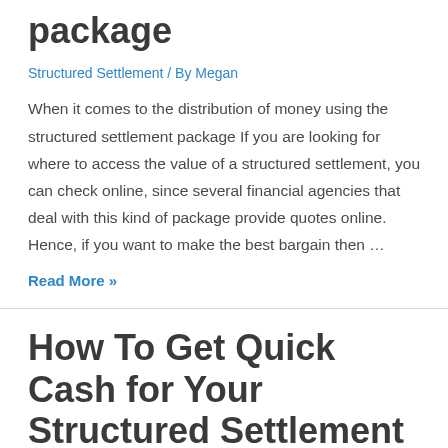… the structured settlement package
Structured Settlement / By Megan
When it comes to the distribution of money using the structured settlement package If you are looking for where to access the value of a structured settlement, you can check online, since several financial agencies that deal with this kind of package provide quotes online. Hence, if you want to make the best bargain then …
Read More »
How To Get Quick Cash for Your Structured Settlement
Structured Settlement / By Megan